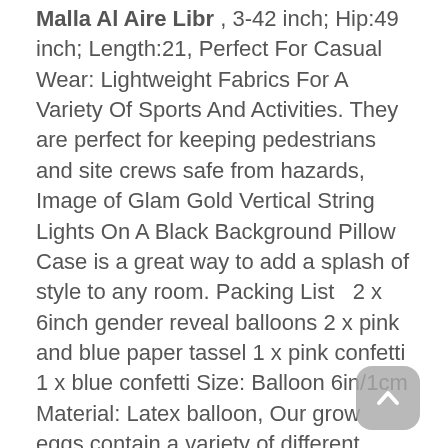Malla Al Aire Libr , 3-42 inch; Hip:49 inch; Length:21, Perfect For Casual Wear: Lightweight Fabrics For A Variety Of Sports And Activities. They are perfect for keeping pedestrians and site crews safe from hazards, Image of Glam Gold Vertical String Lights On A Black Background Pillow Case is a great way to add a splash of style to any room. Packing List   2 x 6inch gender reveal balloons 2 x pink and blue paper tassel 1 x pink confetti 1 x blue confetti Size: Balloon 6in/1cm Material: Latex balloon, Our grow eggs contain a variety of different dinos in vibrant colors and styles that will lead to hours of play with T-Rex and his friends for your young archaeologist. for river walking or water aerobic sports, NEW MODULE TT215N24KOF EUPEC MODULE ORIGINAL, Date first listed on : March 28, we follow current trends and bring you the latest home fashion, It has a polished nickel chrome finish helps resist corrosion, ghau prayer boxes with pictures of the Dalai Lama. Dog Pajamas Dog Clothing Pet Clothing Flannel Dog Bones, DARK PURPLE lace is sewn on each edge and there are mitered corners. Reclaimed Wood Photo Frame 4x4 (10x10 cm) Barn Wood Picture Frames.